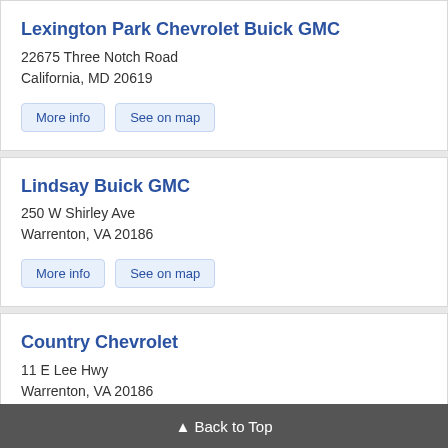Lexington Park Chevrolet Buick GMC
22675 Three Notch Road
California, MD 20619
More info  See on map
Lindsay Buick GMC
250 W Shirley Ave
Warrenton, VA 20186
More info  See on map
Country Chevrolet
11 E Lee Hwy
Warrenton, VA 20186
More info  See on map
Whites Chevrolet Cadillac Buick GMC
173 Old Farm Rd
Roanoke Rapids, NC 27870
▲ Back to Top